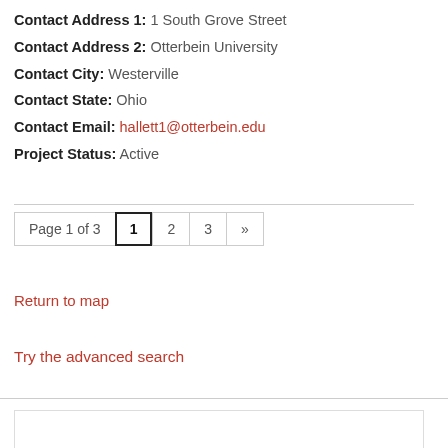Contact Address 1: 1 South Grove Street
Contact Address 2: Otterbein University
Contact City: Westerville
Contact State: Ohio
Contact Email: hallett1@otterbein.edu
Project Status: Active
Page 1 of 3  1  2  3  »
Return to map
Try the advanced search